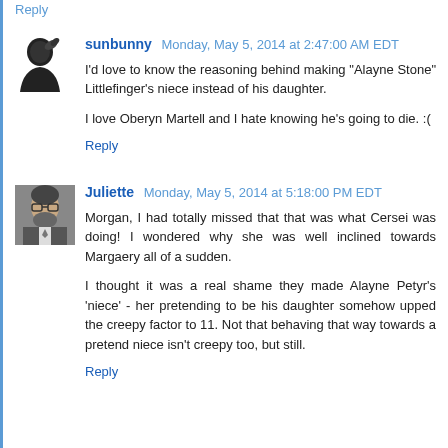Reply (partial, top of page)
sunbunny  Monday, May 5, 2014 at 2:47:00 AM EDT
I'd love to know the reasoning behind making "Alayne Stone" Littlefinger's niece instead of his daughter.

I love Oberyn Martell and I hate knowing he's going to die. :(

Reply
Juliette  Monday, May 5, 2014 at 5:18:00 PM EDT
Morgan, I had totally missed that that was what Cersei was doing! I wondered why she was well inclined towards Margaery all of a sudden.

I thought it was a real shame they made Alayne Petyr's 'niece' - her pretending to be his daughter somehow upped the creepy factor to 11. Not that behaving that way towards a pretend niece isn't creepy too, but still.

Reply